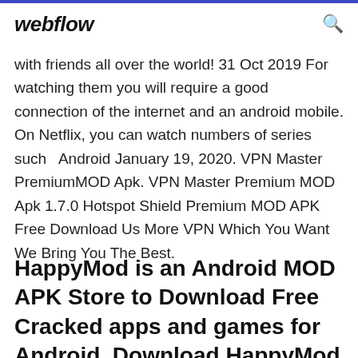webflow
with friends all over the world! 31 Oct 2019 For watching them you will require a good connection of the internet and an android mobile. On Netflix, you can watch numbers of series such  Android January 19, 2020. VPN Master PremiumMOD Apk. VPN Master Premium MOD Apk 1.7.0 Hotspot Shield Premium MOD APK Free Download Us More VPN Which You Want We Bring You The Best.
HappyMod is an Android MOD APK Store to Download Free Cracked apps and games for Android. Download HappyMod